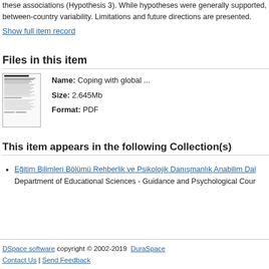these associations (Hypothesis 3). While hypotheses were generally supported, between-country variability. Limitations and future directions are presented.
Show full item record
Files in this item
[Figure (screenshot): Thumbnail image of a PDF document page]
Name: Coping with global ...
Size: 2.645Mb
Format: PDF
This item appears in the following Collection(s)
Eğitim Bilimleri Bölümü Rehberlik ve Psikolojik Danışmanlık Anabilim Dal
Department of Educational Sciences - Guidance and Psychological Cour
DSpace software copyright © 2002-2019  DuraSpace
Contact Us | Send Feedback